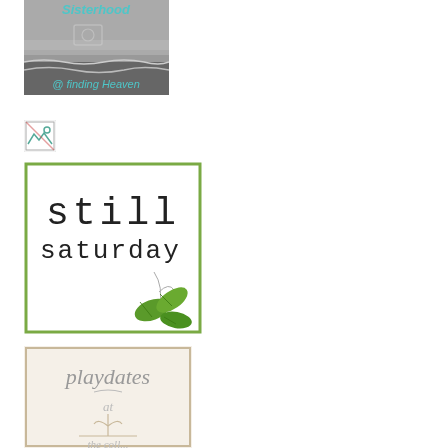[Figure (illustration): Sisterhood @ Finding Heaven blog badge — black and white ocean/beach image with 'Sisterhood @ finding Heaven' text in teal handwritten font]
[Figure (illustration): Broken image icon placeholder (small green and white icon)]
[Figure (illustration): Still Saturday blog badge — white background with green border, 'still saturday' in typewriter font, green leaf sprig illustration]
[Figure (illustration): Playdates blog badge — cream/off-white background with green border, 'playdates at' in cursive script with decorative plant illustration]